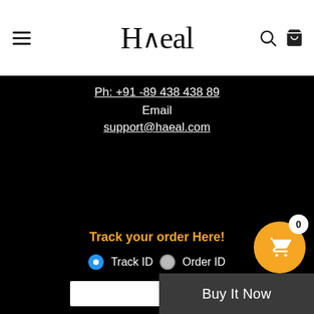Haeal
Ph: +91 -89 438 438 89
Email
support@haeal.com
Track your order Here!
Track ID  Order ID
Buy It Now